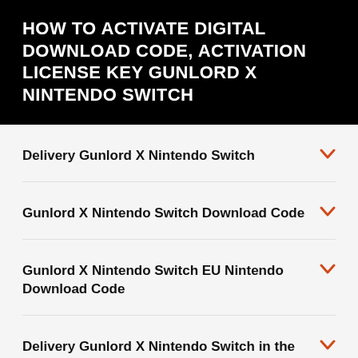HOW TO ACTIVATE DIGITAL DOWNLOAD CODE, ACTIVATION LICENSE KEY GUNLORD X NINTENDO SWITCH
Delivery Gunlord X Nintendo Switch
Gunlord X Nintendo Switch Download Code
Gunlord X Nintendo Switch EU Nintendo Download Code
Delivery Gunlord X Nintendo Switch in the US